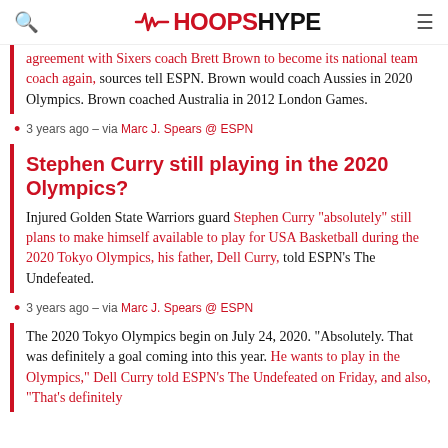HOOPSHYPE
agreement with Sixers coach Brett Brown to become its national team coach again, sources tell ESPN. Brown would coach Aussies in 2020 Olympics. Brown coached Australia in 2012 London Games.
3 years ago – via Marc J. Spears @ ESPN
Stephen Curry still playing in the 2020 Olympics?
Injured Golden State Warriors guard Stephen Curry "absolutely" still plans to make himself available to play for USA Basketball during the 2020 Tokyo Olympics, his father, Dell Curry, told ESPN's The Undefeated.
3 years ago – via Marc J. Spears @ ESPN
The 2020 Tokyo Olympics begin on July 24, 2020. "Absolutely. That was definitely a goal coming into this year. He wants to play in the Olympics," Dell Curry told ESPN's The Undefeated on Friday, and also, "That's definitely...